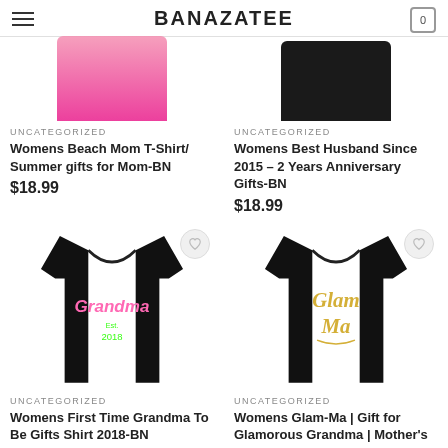BANAZATEE
[Figure (photo): Partial view of a pink women's t-shirt (top portion cropped)]
UNCATEGORIZED
Womens Beach Mom T-Shirt/ Summer gifts for Mom-BN
$18.99
[Figure (photo): Partial view of a black women's t-shirt (top portion cropped)]
UNCATEGORIZED
Womens Best Husband Since 2015 – 2 Years Anniversary Gifts-BN
$18.99
[Figure (photo): Black women's t-shirt with 'Grandma Est. 2018' text in pink and green neon style lettering]
UNCATEGORIZED
Womens First Time Grandma To Be Gifts Shirt 2018-BN
[Figure (photo): Black women's t-shirt with 'Glam Ma' text in gold cursive lettering]
UNCATEGORIZED
Womens Glam-Ma | Gift for Glamorous Grandma | Mother's Day Gifts-BN